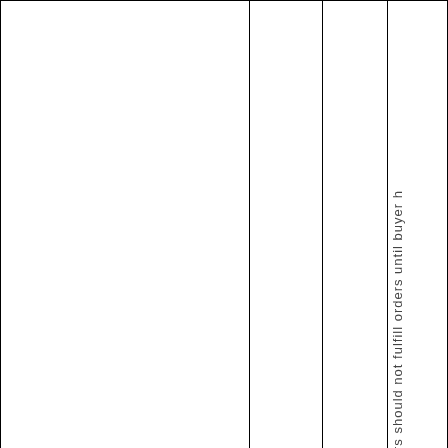|  |  |  | rs should not fulfill orders until buyer h |